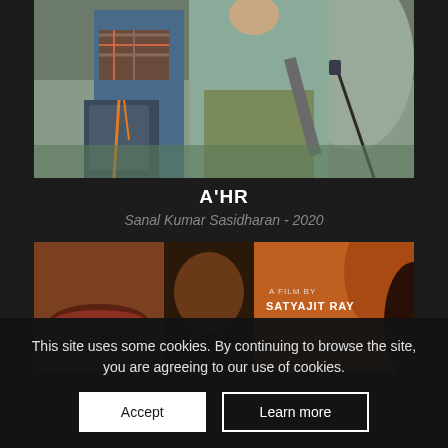[Figure (photo): Two people with hiking/outdoor gear and backpacks sitting on rocky terrain in nature]
A'HR
Sanal Kumar Sasidharan - 2020
[Figure (photo): Movie poster for a film by Satyajit Ray, with orange/brown tones, featuring cast names including Soumitra Chatterjee, Madhabi Mukherjee]
This site uses some cookies. By continuing to browse the site, you are agreeing to our use of cookies.
Accept
Learn more